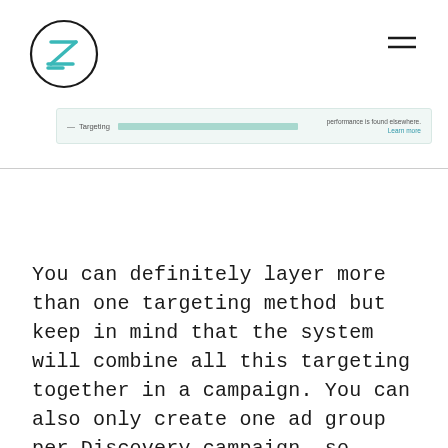[Figure (logo): Circular logo with teal Z-shaped letter mark inside a thin black circle]
[Figure (screenshot): Screenshot of a targeting UI row showing a teal-highlighted bar labeled 'Targeting' and a note 'performance is found elsewhere. Learn more']
You can definitely layer more than one targeting method but keep in mind that the system will combine all this targeting together in a campaign. You can also only create one ad group per Discovery campaign, so there's that as well.